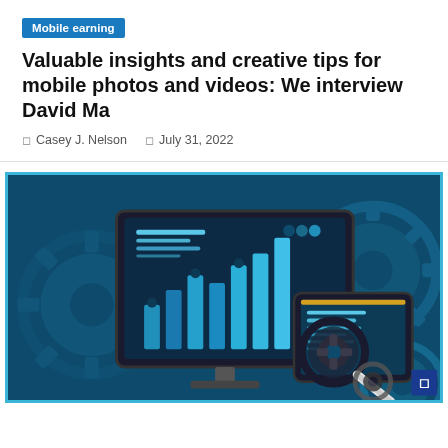Mobile earning
Valuable insights and creative tips for mobile photos and videos: We interview David Ma
Casey J. Nelson   July 31, 2022
[Figure (illustration): Digital illustration showing a desktop monitor displaying a bar chart with teal/blue bars and data lines, a tablet/mobile device with text lines, a magnifying glass over a gear, and multiple gears in the background on a dark teal background.]